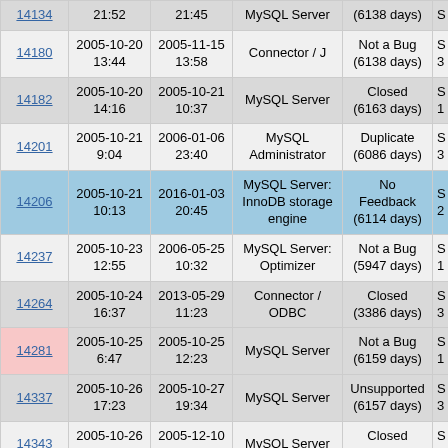| ID | Created | Modified | Component | Status | S |
| --- | --- | --- | --- | --- | --- |
| 14134 | 21:52 | 21:45 | MySQL Server | (6138 days) | S |
| 14180 | 2005-10-20 13:44 | 2005-11-15 13:58 | Connector / J | Not a Bug (6138 days) | S3 |
| 14182 | 2005-10-20 14:16 | 2005-10-21 10:37 | MySQL Server | Closed (6163 days) | S1 |
| 14201 | 2005-10-21 9:04 | 2006-01-06 23:40 | MySQL Administrator | Duplicate (6086 days) | S3 |
| 14206 | 2005-10-21 10:13 | 2016-01-03 20:45 | MySQL Server: InnoDB storage engine | No Feedback (6114 days) | S2 |
| 14237 | 2005-10-23 12:55 | 2006-05-25 10:32 | MySQL Server: Optimizer | Not a Bug (5947 days) | S1 |
| 14264 | 2005-10-24 16:37 | 2013-05-29 11:23 | Connector / ODBC | Closed (3386 days) | S3 |
| 14281 | 2005-10-25 6:47 | 2005-10-25 12:23 | MySQL Server | Not a Bug (6159 days) | S1 |
| 14337 | 2005-10-26 17:23 | 2005-10-27 19:34 | MySQL Server | Unsupported (6157 days) | S3 |
| 14343 | 2005-10-26 18:25 | 2005-12-10 11:45 | MySQL Server | Closed (6113 days) | S2 |